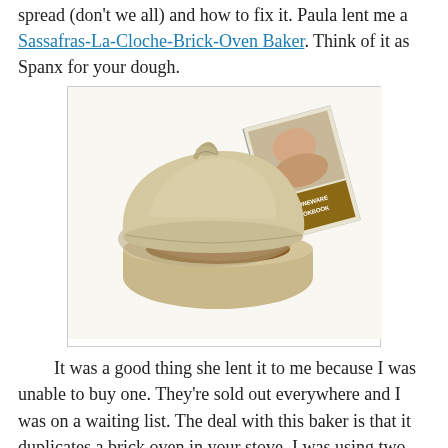spread (don't we all) and how to fix it. Paula lent me a Sassafras-La-Cloche-Brick-Oven Baker. Think of it as Spanx for your dough.
[Figure (photo): A Sassafras La Cloche Brick Oven Baker showing a tan/beige ceramic cloche dome lid partially lifted off the round base, revealing a baked round loaf of bread inside. A Stoneware Cookbook booklet is propped against the baker behind it. The image is on a white background.]
It was a good thing she lent it to me because I was unable to buy one. They're sold out everywhere and I was on a waiting list. The deal with this baker is that it duplicates a brick oven in your stove. I was using two pizza stones, one